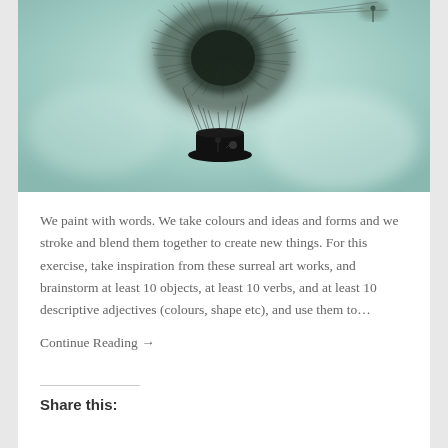[Figure (illustration): Surreal digital artwork showing a giant dandelion head acting as a hot air balloon, floating in a teal/green misty sky. A basket made from a black top hat hangs below by strings, with a small silhouetted figure inside. Another tiny figure clings to one of the dandelion seeds flying off to the upper right.]
We paint with words. We take colours and ideas and forms and we stroke and blend them together to create new things. For this exercise, take inspiration from these surreal art works, and brainstorm at least 10 objects, at least 10 verbs, and at least 10 descriptive adjectives (colours, shape etc), and use them to…
Continue Reading →
Share this: